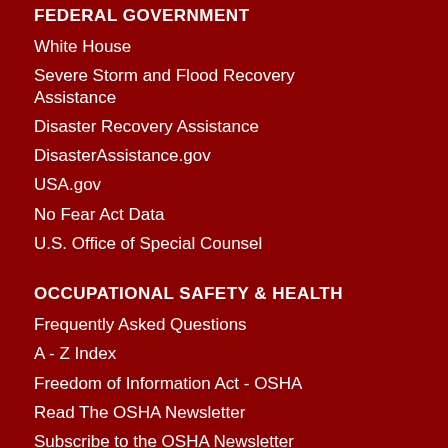FEDERAL GOVERNMENT
White House
Severe Storm and Flood Recovery Assistance
Disaster Recovery Assistance
DisasterAssistance.gov
USA.gov
No Fear Act Data
U.S. Office of Special Counsel
OCCUPATIONAL SAFETY & HEALTH
Frequently Asked Questions
A - Z Index
Freedom of Information Act - OSHA
Read The OSHA Newsletter
Subscribe to the OSHA Newsletter
OSHA Publications
Office of Inspector General